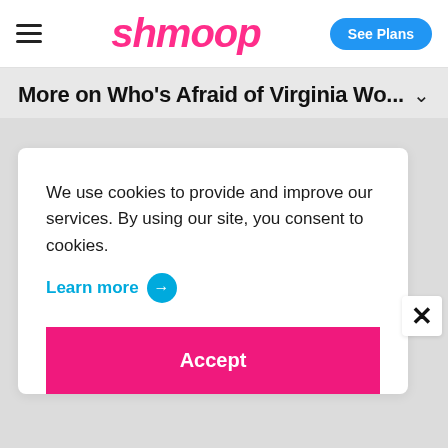shmoop | See Plans
More on Who's Afraid of Virginia Wo...
We use cookies to provide and improve our services. By using our site, you consent to cookies.
Learn more →
Accept